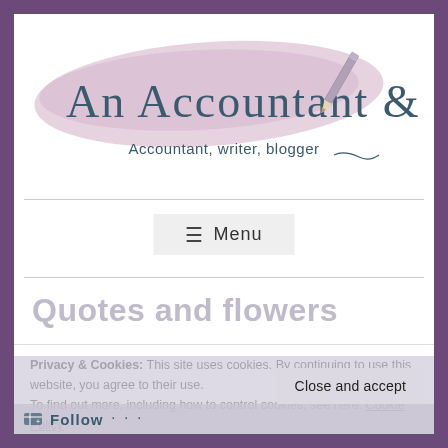[Figure (logo): Blog logo: cursive text 'An Accountant & a Mum' over a pink/lavender brushstroke background, with a pencil illustration to the right. Subtitle: 'Accountant, writer, blogger' with a decorative underline.]
[Figure (screenshot): Menu button with hamburger icon (≡) and text 'Menu' on a light grey background]
Quotes and flowers
Privacy & Cookies: This site uses cookies. By continuing to use this website, you agree to their use.
To find out more, including how to control cookies, see here: Cookie Policy
[Figure (screenshot): Close and accept button (dark grey text on light grey background) and Follow bar at the bottom]